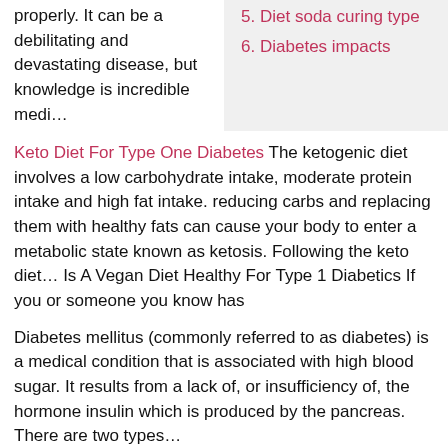properly. It can be a debilitating and devastating disease, but knowledge is incredible medi…
5. Diet soda curing type
6. Diabetes impacts
Keto Diet For Type One Diabetes The ketogenic diet involves a low carbohydrate intake, moderate protein intake and high fat intake. reducing carbs and replacing them with healthy fats can cause your body to enter a metabolic state known as ketosis. Following the keto diet… Is A Vegan Diet Healthy For Type 1 Diabetics If you or someone you know has
Diabetes mellitus (commonly referred to as diabetes) is a medical condition that is associated with high blood sugar. It results from a lack of, or insufficiency of, the hormone insulin which is produced by the pancreas. There are two types…
A Diet For Diabetes Type 1 Diabetes Type 1 Chidlren